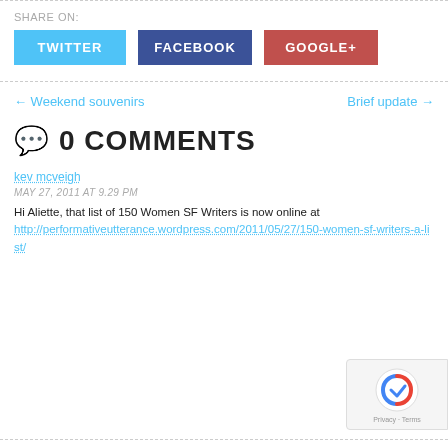SHARE ON:
[Figure (infographic): Three social share buttons: TWITTER (blue), FACEBOOK (dark blue), GOOGLE+ (red)]
← Weekend souvenirs
Brief update →
0 COMMENTS
kev mcveigh
MAY 27, 2011 AT 9.29 PM
Hi Aliette, that list of 150 Women SF Writers is now online at http://performativeutterance.wordpress.com/2011/05/27/150-women-sf-writers-a-list/